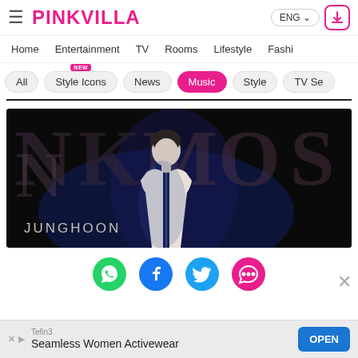PINKVILLA — ENG — navigation: Home, Entertainment, TV, Rooms, Lifestyle, Fashi...
All
Style Icons (NEW)
News
Music (active)
Style
TV Se...
[Figure (photo): Promotional image for JUNGHOON showing a young male artist in a white shirt against a dark background, with large stylized text 'NKMOS' and 'JUNGHOON' overlaid]
[Figure (infographic): Social sharing icons row: WhatsApp (green), Facebook (dark blue), Twitter (light blue), Chat/Comments (pink)]
Tefin3
Seamless Women Activewear
OPEN